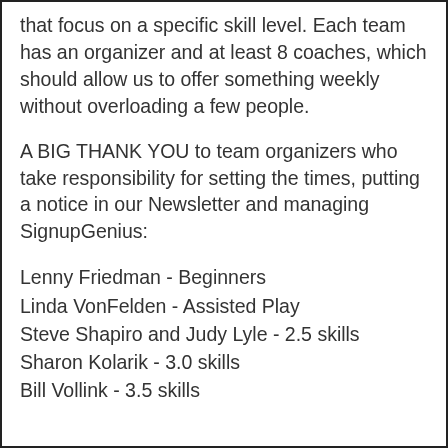that focus on a specific skill level. Each team has an organizer and at least 8 coaches, which should allow us to offer something weekly without overloading a few people.
A BIG THANK YOU to team organizers who take responsibility for setting the times, putting a notice in our Newsletter and managing SignupGenius:
Lenny Friedman - Beginners
Linda VonFelden - Assisted Play
Steve Shapiro and Judy Lyle - 2.5 skills
Sharon Kolarik - 3.0 skills
Bill Vollink - 3.5 skills